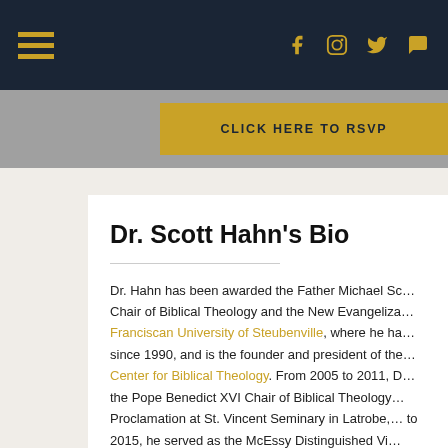Navigation bar with hamburger menu and social icons (Facebook, Instagram, Twitter, chat)
CLICK HERE TO RSVP
Dr. Scott Hahn's Bio
Dr. Hahn has been awarded the Father Michael Sc… Chair of Biblical Theology and the New Evangeliza… Franciscan University of Steubenville, where he ha… since 1990, and is the founder and president of the… Center for Biblical Theology. From 2005 to 2011, D… the Pope Benedict XVI Chair of Biblical Theology… Proclamation at St. Vincent Seminary in Latrobe, … to 2015, he served as the McEssy Distinguished Vi… Professor of Biblical Theology and the New Evangelization, University of St. Mary of the La…